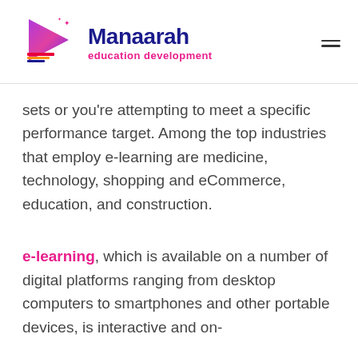[Figure (logo): Manaarah education development logo with a play-button style icon in pink/purple gradient with book/bookmark stripes, and a hamburger menu icon on the right]
sets or you’re attempting to meet a specific performance target. Among the top industries that employ e-learning are medicine, technology, shopping and eCommerce, education, and construction.
e-learning, which is available on a number of digital platforms ranging from desktop computers to smartphones and other portable devices, is interactive and on-